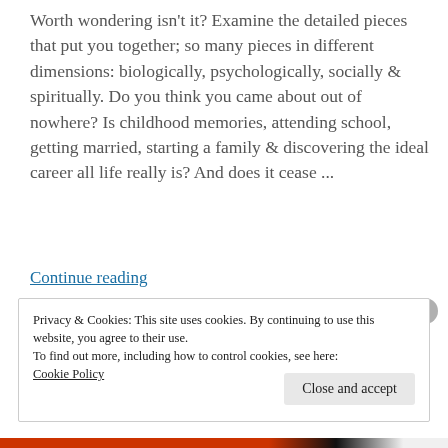Worth wondering isn't it? Examine the detailed pieces that put you together; so many pieces in different dimensions: biologically, psychologically, socially & spiritually. Do you think you came about out of nowhere? Is childhood memories, attending school, getting married, starting a family & discovering the ideal career all life really is? And does it cease ...
Continue reading
Privacy & Cookies: This site uses cookies. By continuing to use this website, you agree to their use.
To find out more, including how to control cookies, see here: Cookie Policy